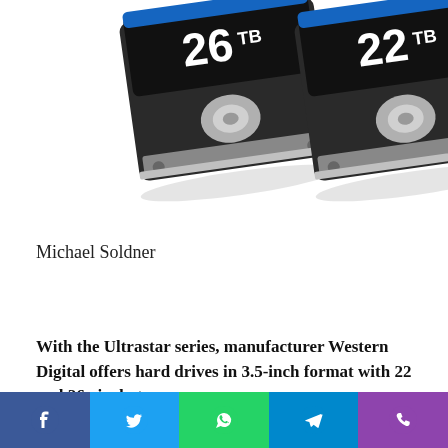[Figure (photo): Two Western Digital Ultrastar hard drives side by side, left one labeled 26TB and right one labeled 22TB, both 3.5-inch format with black and silver design]
Michael Soldner
With the Ultrastar series, manufacturer Western Digital offers hard drives in 3.5-inch format with 22 and 26 gigabytes.
[Figure (other): Social share bar with Facebook, Twitter, WhatsApp, Telegram, and phone icons]